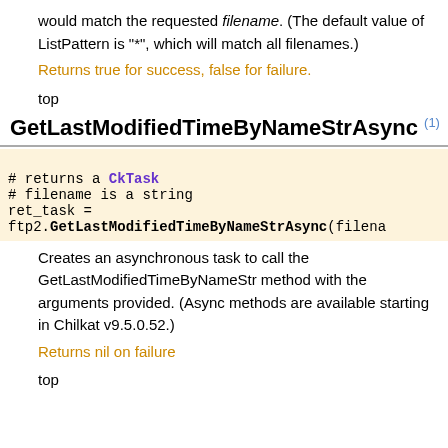would match the requested filename. (The default value of ListPattern is "*", which will match all filenames.)
Returns true for success, false for failure.
top
GetLastModifiedTimeByNameStrAsync (1)
# returns a CkTask
# filename is a string
ret_task =
ftp2.GetLastModifiedTimeByNameStrAsync(filena
Creates an asynchronous task to call the GetLastModifiedTimeByNameStr method with the arguments provided. (Async methods are available starting in Chilkat v9.5.0.52.)
Returns nil on failure
top